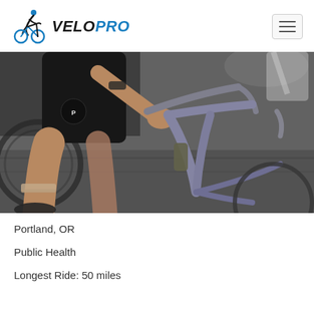[Figure (logo): VeloPro cycling brand logo with cyclist icon and stylized text 'VELO' in dark and 'PRO' in blue]
[Figure (photo): Close-up photo of cyclist's legs and road bike handlebar area, showing cycling shorts with Pearl Izumi logo, bike frame, and road surface]
Portland, OR
Public Health
Longest Ride: 50 miles